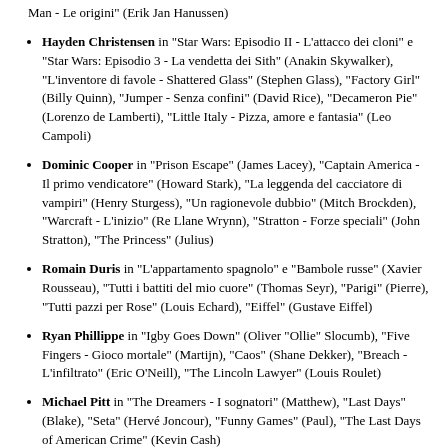Man - Le origini" (Erik Jan Hanussen)
Hayden Christensen in "Star Wars: Episodio II - L'attacco dei cloni" e "Star Wars: Episodio 3 - La vendetta dei Sith" (Anakin Skywalker), "L'inventore di favole - Shattered Glass" (Stephen Glass), "Factory Girl" (Billy Quinn), "Jumper - Senza confini" (David Rice), "Decameron Pie" (Lorenzo de Lamberti), "Little Italy - Pizza, amore e fantasia" (Leo Campoli)
Dominic Cooper in "Prison Escape" (James Lacey), "Captain America - Il primo vendicatore" (Howard Stark), "La leggenda del cacciatore di vampiri" (Henry Sturgess), "Un ragionevole dubbio" (Mitch Brockden), "Warcraft - L'inizio" (Re Llane Wrynn), "Stratton - Forze speciali" (John Stratton), "The Princess" (Julius)
Romain Duris in "L'appartamento spagnolo" e "Bambole russe" (Xavier Rousseau), "Tutti i battiti del mio cuore" (Thomas Seyr), "Parigi" (Pierre), "Tutti pazzi per Rose" (Louis Echard), "Eiffel" (Gustave Eiffel)
Ryan Phillippe in "Igby Goes Down" (Oliver "Ollie" Slocumb), "Five Fingers - Gioco mortale" (Martijn), "Caos" (Shane Dekker), "Breach - L'infiltrato" (Eric O'Neill), "The Lincoln Lawyer" (Louis Roulet)
Michael Pitt in "The Dreamers - I sognatori" (Matthew), "Last Days" (Blake), "Seta" (Hervé Joncour), "Funny Games" (Paul), "The Last Days of American Crime" (Kevin Cash)
Aaron Paul in "Need for Speed" (Tobey Marshall), "Non buttiamoci giù"...